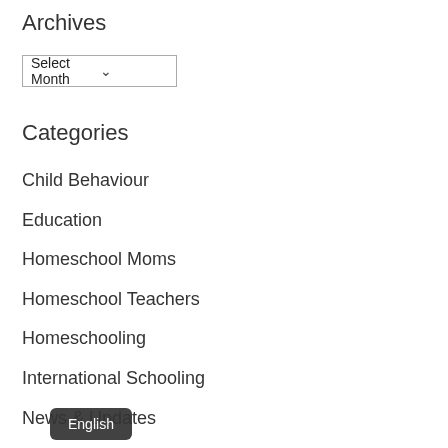Archives
Select Month
Categories
Child Behaviour
Education
Homeschool Moms
Homeschool Teachers
Homeschooling
International Schooling
News & Updates
Online Schooling
Uncategorized
English